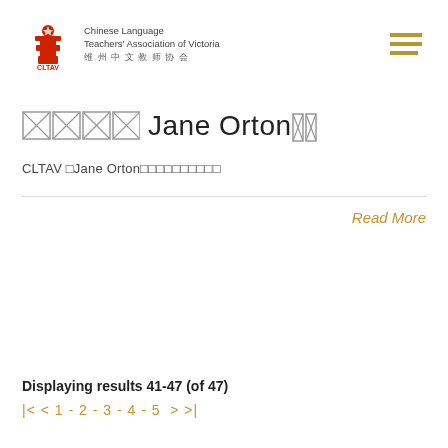Chinese Language Teachers' Association of Victoria 维州中文教师协会
□□□□ Jane Orton□□
CLTAV □Jane Orton□□□□□□□□□□
Read More
Displaying results 41-47 (of 47)
|< < 1 - 2 - 3 - 4 - 5 > >|